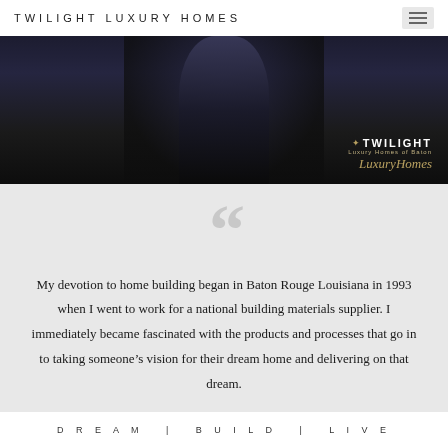TWILIGHT LUXURY HOMES
[Figure (photo): Dark moody hero image showing a person in dark clothing against a very dark background, with Twilight Luxury Homes watermark logo in the lower right corner]
““ My devotion to home building began in Baton Rouge Louisiana in 1993 when I went to work for a national building materials supplier. I immediately became fascinated with the products and processes that go in to taking someone’s vision for their dream home and delivering on that dream.
DREAM  |  BUILD  |  LIVE